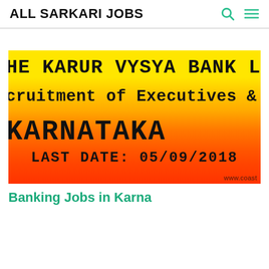ALL SARKARI JOBS
[Figure (infographic): Banner image with gradient background (yellow to orange to red) showing text: THE KARUR VYSYA BANK LIMITED, Recruitment of Executives & Officers, KARNATAKA, LAST DATE: 05/09/2018, www.coast...]
Banking Jobs in Karnataka